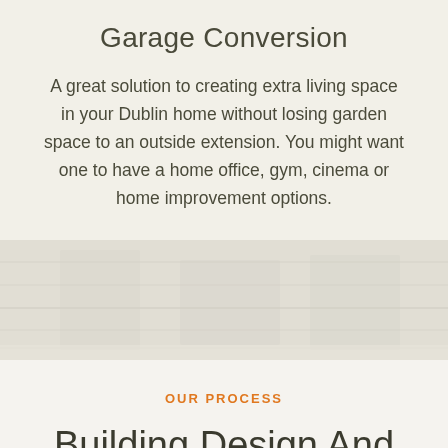Garage Conversion
A great solution to creating extra living space in your Dublin home without losing garden space to an outside extension. You might want one to have a home office, gym, cinema or home improvement options.
[Figure (photo): Faint image of a building or construction scene, shown as a blurred/watermark-style background image in a neutral tone band]
OUR PROCESS
Building Design And Construction